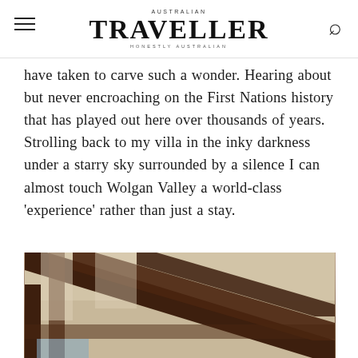AUSTRALIAN TRAVELLER — HONESTLY AUSTRALIAN
have taken to carve such a wonder. Hearing about but never encroaching on the First Nations history that has played out here over thousands of years. Strolling back to my villa in the inky darkness under a starry sky surrounded by a silence I can almost touch Wolgan Valley a world-class 'experience' rather than just a stay.
[Figure (photo): Interior architectural detail showing wooden beam/rafter structure of a building, viewed from below at an angle, with natural light coming through.]